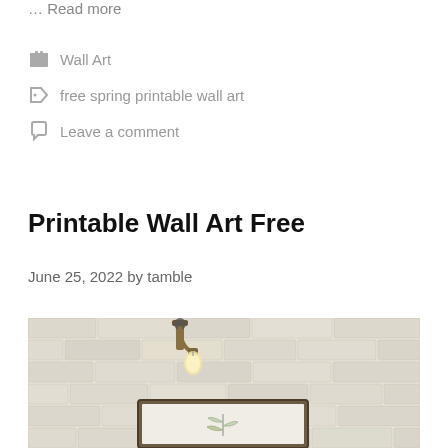… Read more
Wall Art
free spring printable wall art
Leave a comment
Printable Wall Art Free
June 25, 2022 by tamble
[Figure (photo): A white painted brick wall with a brass wall sconce light fixture, and a framed botanical print hanging below it.]